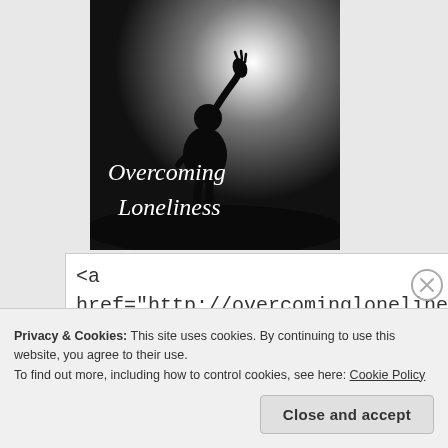[Figure (illustration): Black and white image of a person silhouette with arm raised against a bright sky, with cursive text overlaid reading 'Overcoming Loneliness']
<a href="http://overcomingloneliness.com" target="_blank"><img src="https://overcomingloneliness.files.wordpress.com/2012/02/overcomingbutton.jpg" alt="Overcoming Pain" width="125" height="125" />
Privacy & Cookies: This site uses cookies. By continuing to use this website, you agree to their use.
To find out more, including how to control cookies, see here: Cookie Policy